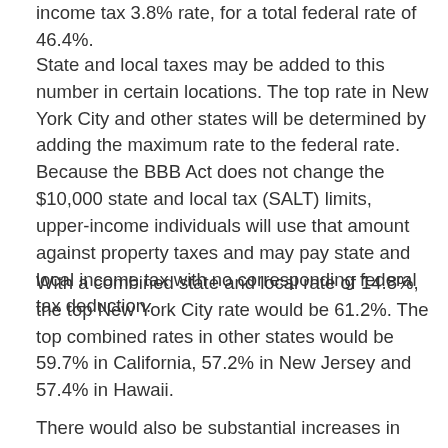income tax 3.8% rate, for a total federal rate of 46.4%.
State and local taxes may be added to this number in certain locations. The top rate in New York City and other states will be determined by adding the maximum rate to the federal rate. Because the BBB Act does not change the $10,000 state and local tax (SALT) limits, upper-income individuals will use that amount against property taxes and may pay state and local income tax with no corresponding federal tax deduction.
With a combined state and local rate of 14.8%, the top New York City rate would be 61.2%. The top combined rates in other states would be 59.7% in California, 57.2% in New Jersey and 57.4% in Hawaii.
There would also be substantial increases in top capital